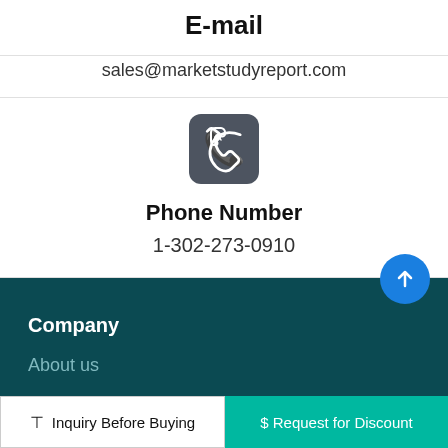E-mail
sales@marketstudyreport.com
[Figure (illustration): Phone icon — white handset on dark grey rounded square background]
Phone Number
1-302-273-0910
Company
About us
Inquiry Before Buying
$ Request for Discount